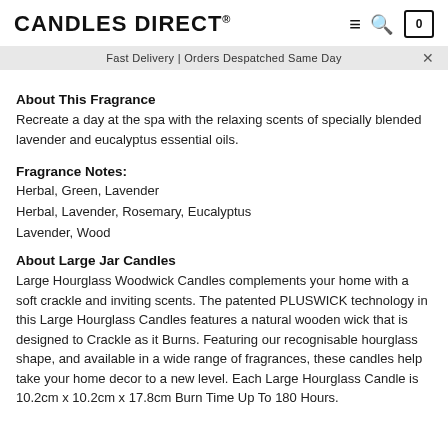CANDLES DIRECT®
Fast Delivery | Orders Despatched Same Day
About This Fragrance
Recreate a day at the spa with the relaxing scents of specially blended lavender and eucalyptus essential oils.
Fragrance Notes:
Herbal, Green, Lavender
Herbal, Lavender, Rosemary, Eucalyptus
Lavender, Wood
About Large Jar Candles
Large Hourglass Woodwick Candles complements your home with a soft crackle and inviting scents. The patented PLUSWICK technology in this Large Hourglass Candles features a natural wooden wick that is designed to Crackle as it Burns. Featuring our recognisable hourglass shape, and available in a wide range of fragrances, these candles help take your home decor to a new level. Each Large Hourglass Candle is 10.2cm x 10.2cm x 17.8cm Burn Time Up To 180 Hours.